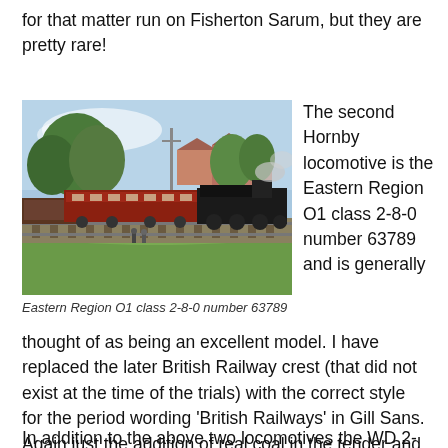for that matter run on Fisherton Sarum, but they are pretty rare!
[Figure (photo): Model railway scene showing a steam locomotive pulling red passenger coaches through a scenic layout with trees, buildings and track. Eastern Region O1 class 2-8-0 number 63789.]
Eastern Region O1 class 2-8-0 number 63789
The second Hornby locomotive is the Eastern Region O1 class 2-8-0 number 63789 and is generally thought of as being an excellent model. I have replaced the later British Railway crest (that did not exist at the time of the trials) with the correct style for the period wording 'British Railways' in Gill Sans.  Again just the addition of real coal in the tender and weathering was required before entering the fleet.
In addition to the above two locomotives the WD 2-8-0 and 2-